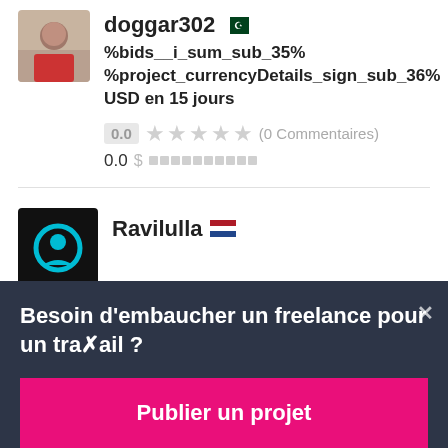[Figure (photo): Avatar photo of user doggar302, showing a person in a red top against outdoor background]
doggar302 [Pakistan flag]
%bids__i_sum_sub_35% %project_currencyDetails_sign_sub_36% USD en 15 jours
0.0 ★★★★★ (0 Commentaires)
0.0 $ ██████████
[Figure (logo): Avatar of user Ravilulla, black background with cyan circular icon]
Ravilulla [Netherlands flag]
Besoin d'embaucher un freelance pour un travail ?
Publier un projet